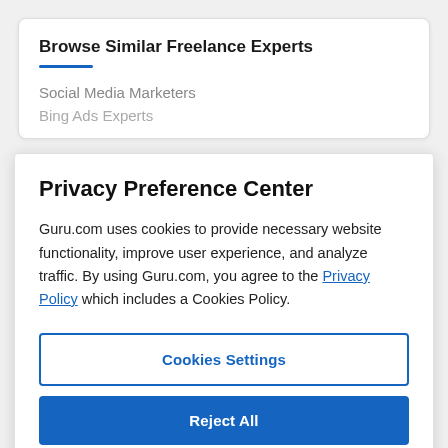Browse Similar Freelance Experts
Social Media Marketers
Bing Ads Experts
Privacy Preference Center
Guru.com uses cookies to provide necessary website functionality, improve user experience, and analyze traffic. By using Guru.com, you agree to the Privacy Policy which includes a Cookies Policy.
Cookies Settings
Reject All
Accept All Cookies